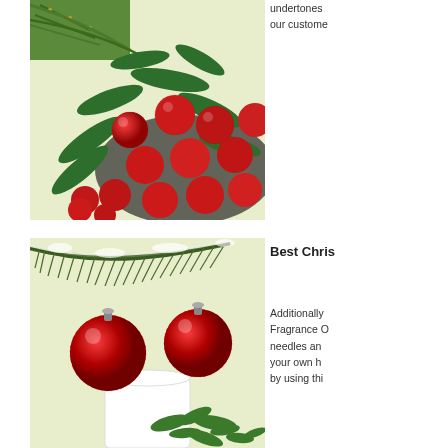[Figure (photo): Red lychee fruits with green leaves in a bowl, with pine branches in the upper left corner, on a light yellow-green background]
undertones our custome
[Figure (photo): Snow-dusted pine branches with two red glittery Christmas ornament balls and green herbs below, on a light yellow-green background]
Best Chris
Additionally Fragrance O needles an your own h by using thi